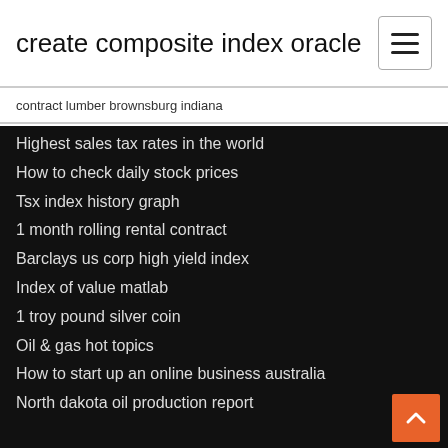create composite index oracle
contract lumber brownsburg indiana
Highest sales tax rates in the world
How to check daily stock prices
Tsx index history graph
1 month rolling rental contract
Barclays us corp high yield index
Index of value matlab
1 troy pound silver coin
Oil & gas hot topics
How to start up an online business australia
North dakota oil production report